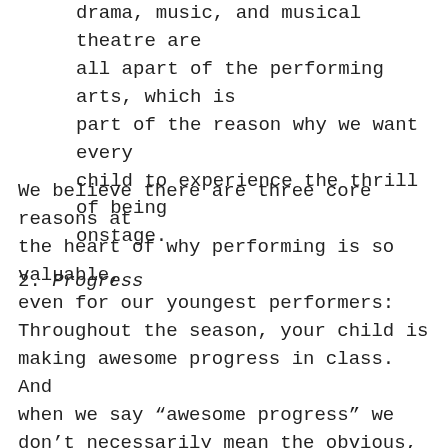drama, music, and musical theatre are all apart of the performing arts, which is part of the reason why we want every child to experience the thrill of being onstage.
We believe there are three core reasons at the heart of why performing is so valuable, even for our youngest performers:
2. Progress
Throughout the season, your child is making awesome progress in class. And when we say “awesome progress” we don’t necessarily mean the obvious, like learning fancy ballet steps (although that is pretty awesome too!). What we mean is